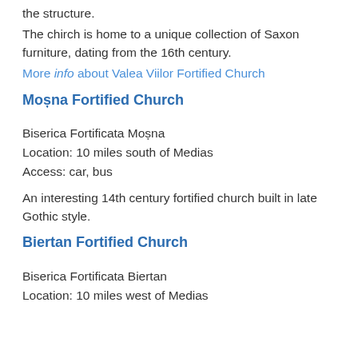the structure.
The chirch is home to a unique collection of Saxon furniture, dating from the 16th century.
More info about Valea Viilor Fortified Church
Moșna Fortified Church
Biserica Fortificata Moșna
Location: 10 miles south of Medias
Access: car, bus
An interesting 14th century fortified church built in late Gothic style.
Biertan Fortified Church
Biserica Fortificata Biertan
Location: 10 miles west of Medias